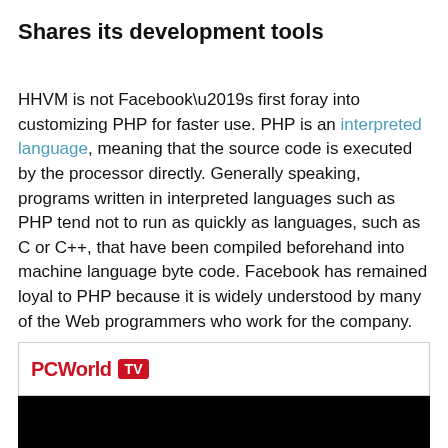Shares its development tools
HHVM is not Facebook’s first foray into customizing PHP for faster use. PHP is an interpreted language, meaning that the source code is executed by the processor directly. Generally speaking, programs written in interpreted languages such as PHP tend not to run as quickly as languages, such as C or C++, that have been compiled beforehand into machine language byte code. Facebook has remained loyal to PHP because it is widely understood by many of the Web programmers who work for the company.
[Figure (logo): PCWorld TV logo badge in a bordered box]